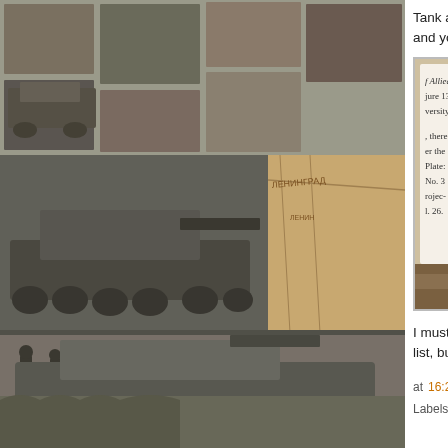[Figure (photo): Collage of black-and-white WWII tank and military photographs arranged in a grid on the left side, with a colorful map fragment visible in one panel]
Tank and AFV News recently got a copy of ... and you'll never guess who's in it.
[Figure (photo): Photograph of an open book showing footnotes/endnotes page with references including Thomas Jentz, Dreaded Threat, Switzerland History Facts, and a note about Russian historians and Archive Awareness website]
I must say, I never expected to be next to... list, but here I am.
at 16:27:00   20 comments:
Labels: administrative, cross-examination, forger...